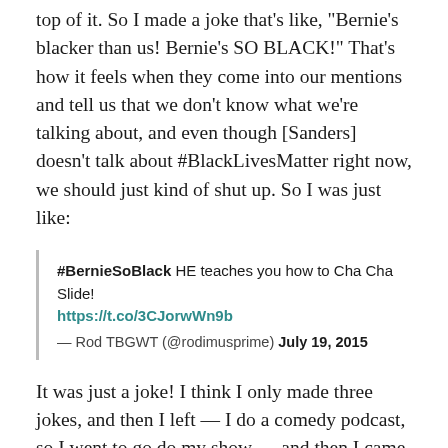top of it. So I made a joke that's like, "Bernie's blacker than us! Bernie's SO BLACK!" That's how it feels when they come into our mentions and tell us that we don't know what we're talking about, and even though [Sanders] doesn't talk about #BlackLivesMatter right now, we should just kind of shut up. So I was just like:
#BernieSoBlack HE teaches you how to Cha Cha Slide! https://t.co/3CJorwWn9b
— Rod TBGWT (@rodimusprime) July 19, 2015
It was just a joke! I think I only made three jokes, and then I left — I do a comedy podcast, so I went to go do my show — and then I came back, and I don't